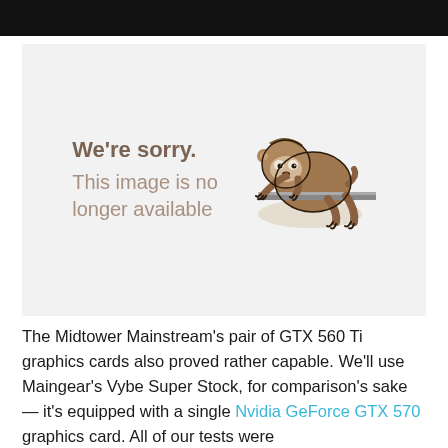[Figure (illustration): Image placeholder showing 'We're sorry. This image is no longer available' text with a cartoon sloth hanging on a bar]
The Midtower Mainstream's pair of GTX 560 Ti graphics cards also proved rather capable. We'll use Maingear's Vybe Super Stock, for comparison's sake — it's equipped with a single Nvidia GeForce GTX 570 graphics card. All of our tests were